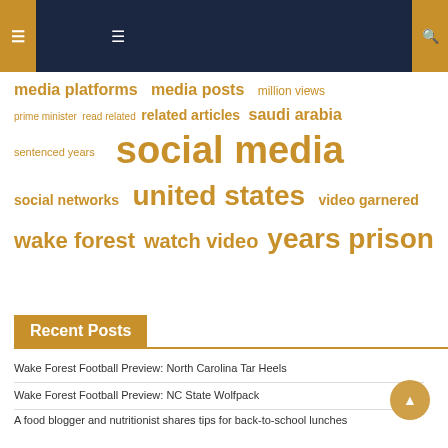[Figure (infographic): Tag cloud with keywords in varying sizes in golden/amber color: media platforms, media posts, million views, prime minister, read related, related articles, saudi arabia, sentenced years, social media, social networks, united states, video garnered, wake forest, watch video, years prison]
Recent Posts
Wake Forest Football Preview: North Carolina Tar Heels
Wake Forest Football Preview: NC State Wolfpack
A food blogger and nutritionist shares tips for back-to-school lunches